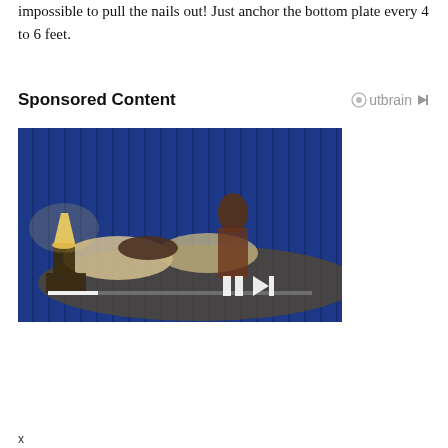impossible to pull the nails out! Just anchor the bottom plate every 4 to 6 feet.
Sponsored Content
[Figure (photo): Sponsored content ad image showing a woman sitting up in bed with a man lying down, room lit in blue light, with video player controls overlay. Caption reads 'Warning Signs of Mental Health Problems'.]
Warning Signs of Mental Health Problems